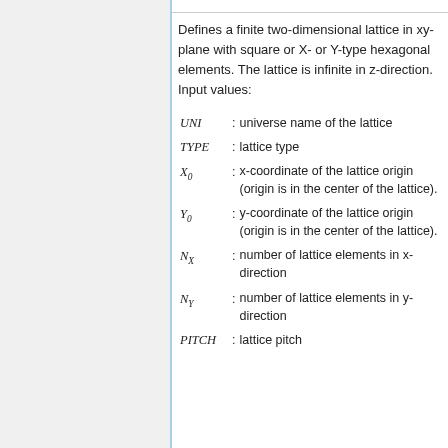Defines a finite two-dimensional lattice in xy-plane with square or X- or Y-type hexagonal elements. The lattice is infinite in z-direction. Input values:
UNI : universe name of the lattice
TYPE : lattice type
X_0 : x-coordinate of the lattice origin (origin is in the center of the lattice).
Y_0 : y-coordinate of the lattice origin (origin is in the center of the lattice).
N_X : number of lattice elements in x-direction
N_Y : number of lattice elements in y-direction
PITCH : lattice pitch